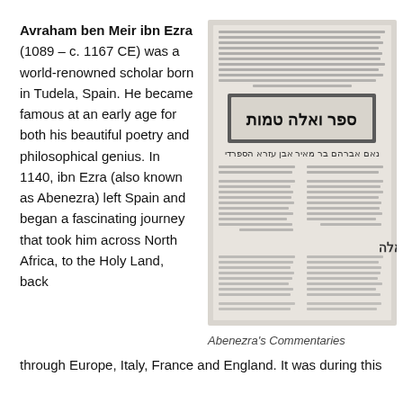Avraham ben Meir ibn Ezra (1089 – c. 1167 CE) was a world-renowned scholar born in Tudela, Spain. He became famous at an early age for both his beautiful poetry and philosophical genius. In 1140, ibn Ezra (also known as Abenezra) left Spain and began a fascinating journey that took him across North Africa, to the Holy Land, back through Europe, Italy, France and England. It was during this
[Figure (photo): A manuscript page showing Hebrew text, identified as Abenezra's Commentaries. The page shows dense Hebrew script with decorative border elements and a central title box.]
Abenezra's Commentaries